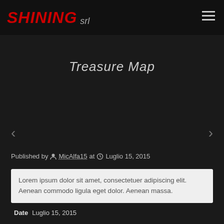Shining srl
Treasure Map
Published by MicAlfa15 at Luglio 15, 2015
Lorem ipsum dolor sit amet, consectetuer adipiscing elit. Aenean commodo ligula eget dolor. Aenean massa.
Date  Luglio 15, 2015